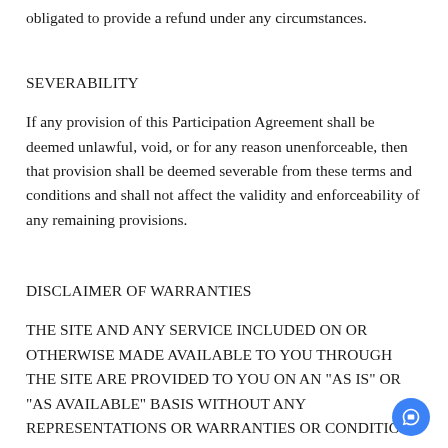obligated to provide a refund under any circumstances.
SEVERABILITY
If any provision of this Participation Agreement shall be deemed unlawful, void, or for any reason unenforceable, then that provision shall be deemed severable from these terms and conditions and shall not affect the validity and enforceability of any remaining provisions.
DISCLAIMER OF WARRANTIES
THE SITE AND ANY SERVICE INCLUDED ON OR OTHERWISE MADE AVAILABLE TO YOU THROUGH THE SITE ARE PROVIDED TO YOU ON AN "AS IS" OR "AS AVAILABLE" BASIS WITHOUT ANY REPRESENTATIONS OR WARRANTIES OR CONDITIONS OF ANY KIND, UNLESS OTHERWISE EXPRESSLY SET FORTH IN